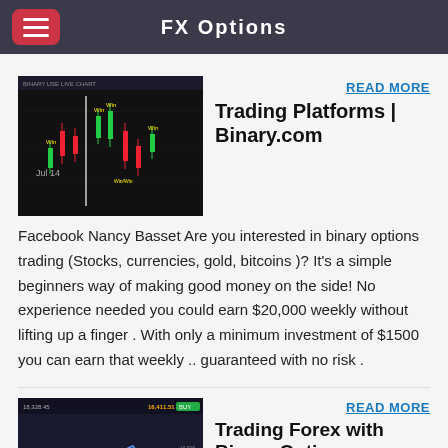FX Options
[Figure (screenshot): Candlestick trading chart with red and green candles, 'Jul 14' label, Win markers on chart, dark background]
READ MORE
Trading Platforms | Binary.com
Facebook Nancy Basset Are you interested in binary options trading (Stocks, currencies, gold, bitcoins )? It's a simple beginners way of making good money on the side! No experience needed you could earn $20,000 weekly without lifting up a finger . With only a minimum investment of $1500 you can earn that weekly .. guaranteed with no risk .
[Figure (screenshot): Dark trading platform interface with line chart, red and green price indicators, financial data panels]
READ MORE
Trading Forex with Binary Options - Investopedia